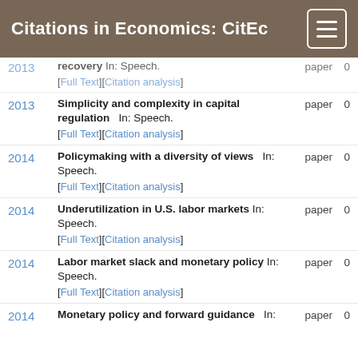Citations in Economics: CitEc
2013 | recovery In: Speech. [Full Text][Citation analysis] | paper | 0
2013 | Simplicity and complexity in capital regulation In: Speech. [Full Text][Citation analysis] | paper | 0
2014 | Policymaking with a diversity of views In: Speech. [Full Text][Citation analysis] | paper | 0
2014 | Underutilization in U.S. labor markets In: Speech. [Full Text][Citation analysis] | paper | 0
2014 | Labor market slack and monetary policy In: Speech. [Full Text][Citation analysis] | paper | 0
2014 | Monetary policy and forward guidance In: paper 0